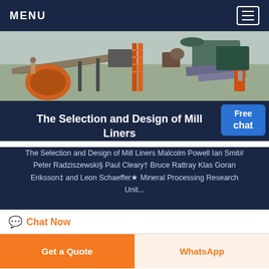MENU
[Figure (photo): Industrial mining/milling site with machinery, conveyor belts, orange ladders, and workers visible outdoors.]
The Selection and Design of Mill Liners
The Selection and Design of Mill Liners Malcolm Powell Ian Smit# Peter Radziszewski§ Paul Cleary† Bruce Rattray Klas Goran Eriksson‡ and Leon Schaeffer★ Mineral Processing Research Unit...
Chat Now
Get a Quote
WhatsApp